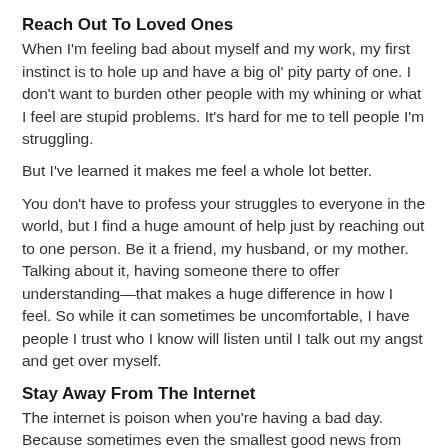Reach Out To Loved Ones
When I'm feeling bad about myself and my work, my first instinct is to hole up and have a big ol' pity party of one. I don't want to burden other people with my whining or what I feel are stupid problems. It's hard for me to tell people I'm struggling.
But I've learned it makes me feel a whole lot better.
You don't have to profess your struggles to everyone in the world, but I find a huge amount of help just by reaching out to one person. Be it a friend, my husband, or my mother. Talking about it, having someone there to offer understanding—that makes a huge difference in how I feel. So while it can sometimes be uncomfortable, I have people I trust who I know will listen until I talk out my angst and get over myself.
Stay Away From The Internet
The internet is poison when you're having a bad day. Because sometimes even the smallest good news from